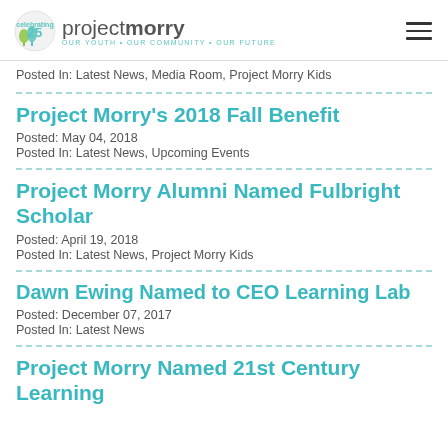project morry — OUR YOUTH • OUR COMMUNITY • OUR FUTURE
Posted In:  Latest News, Media Room, Project Morry Kids
Project Morry's 2018 Fall Benefit
Posted:  May 04, 2018
Posted In:  Latest News, Upcoming Events
Project Morry Alumni Named Fulbright Scholar
Posted:  April 19, 2018
Posted In:  Latest News, Project Morry Kids
Dawn Ewing Named to CEO Learning Lab
Posted:  December 07, 2017
Posted In:  Latest News
Project Morry Named 21st Century Learning Funder